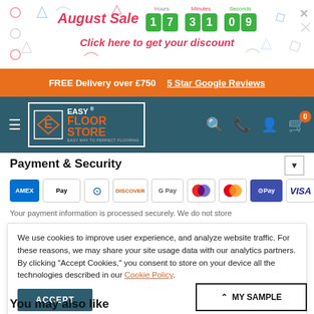[Figure (screenshot): Top promotional banner with 'August Sale' text in pink italic, countdown timer showing 17 hours 31 minutes 09 seconds in green digit boxes, and 'Click here to get your discount' text link in pink italic, with decorative confetti shapes in background. Close X button top right.]
FREE Delivery over £750   5 Star Google Reviews
[Figure (logo): Easy Floor Store logo with orange diamond/arrow icon, white border box, 'EASY FLOOR STORE' text in white/orange, 'EASY WAY TO PERFECT FLOORING' tagline, on dark teal navigation bar with hamburger menu, search, phone, account, and cart (0) icons]
Payment & Security
[Figure (other): Row of payment method icons: American Express (blue), Apple Pay (white), Diners Club, Discover, Google Pay, Maestro, Mastercard, OPay (purple), VISA]
Your payment information is processed securely. We do not store
We use cookies to improve user experience, and analyze website traffic. For these reasons, we may share your site usage data with our analytics partners. By clicking "Accept Cookies," you consent to store on your device all the technologies described in our Cookie Policy.
ACCEPT
You may also like
MY SAMPLE